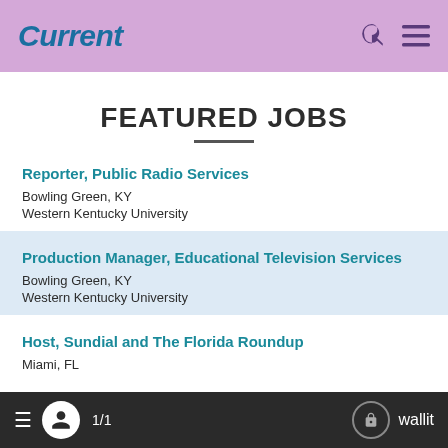Current
FEATURED JOBS
Reporter, Public Radio Services | Bowling Green, KY | Western Kentucky University
Production Manager, Educational Television Services | Bowling Green, KY | Western Kentucky University
Host, Sundial and The Florida Roundup | Miami, FL
1/1  wallit